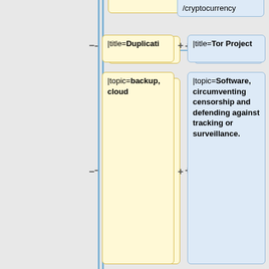[Figure (flowchart): A diff/comparison flowchart showing two columns of template parameter boxes. Left column (yellow, marked with minus) shows: /cryptocurrency (top, cut off), |title=Duplicati, |topic=backup, cloud, }}, {{support-page, |url=http://etherpad.org/#links, |title=Etherpad, |topic=collaboration, selfhosting. Right column (blue, marked with plus) shows: /cryptocurrency (top, cut off), |title=Tor Project, |topic=Software, circumventing censorship and defending against tracking or surveillance., }}, {{support-page, |url=https://tails.boum.org/donate/, |title=Tails OS, |topic=The amnestic incognito live system for. Connected by a vertical blue line on the left with minus/plus symbols.]